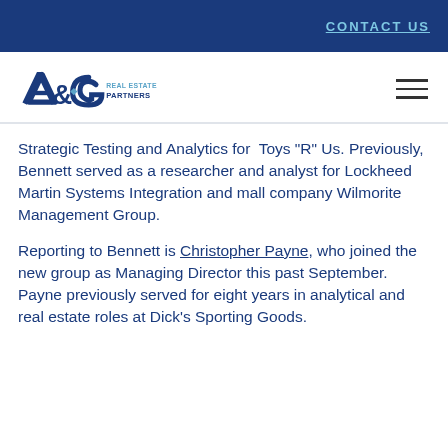CONTACT US
[Figure (logo): A&G Real Estate Partners logo — stylized 'AG' monogram in navy blue with 'REAL ESTATE PARTNERS' text]
Strategic Testing and Analytics for Toys "R" Us. Previously, Bennett served as a researcher and analyst for Lockheed Martin Systems Integration and mall company Wilmorite Management Group.
Reporting to Bennett is Christopher Payne, who joined the new group as Managing Director this past September. Payne previously served for eight years in analytical and real estate roles at Dick's Sporting Goods.